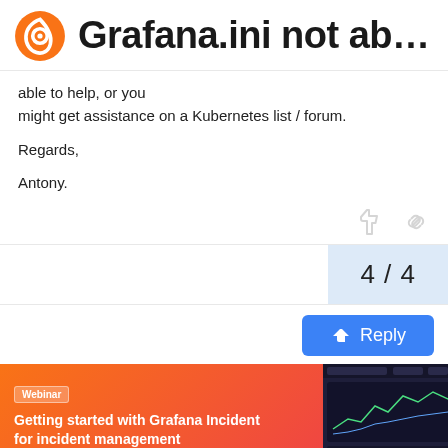Grafana.ini not ab…
able to help, or you might get assistance on a Kubernetes list / forum.

Regards,

Antony.
[Figure (screenshot): Webinar promotional banner: Getting started with Grafana Incident for incident management]
Suggested To…